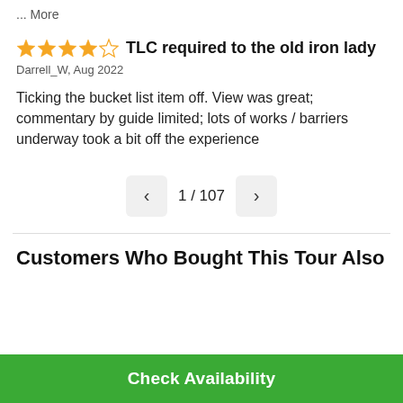... More
TLC required to the old iron lady
Darrell_W, Aug 2022
Ticking the bucket list item off. View was great; commentary by guide limited; lots of works / barriers underway took a bit off the experience
1 / 107
Customers Who Bought This Tour Also
Check Availability